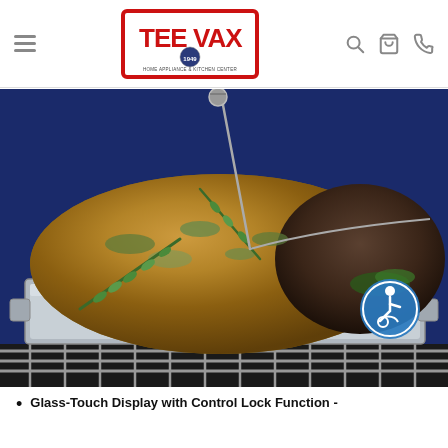TeeVax Home Appliance & Kitchen Center — navigation header with hamburger menu, logo, search, cart, and phone icons
[Figure (photo): A large roast with a herb crust and rosemary garnish, pierced with a meat thermometer probe, sitting in a stainless steel roasting pan inside a dark blue oven cavity with chrome racks visible at the bottom. An accessibility icon (wheelchair symbol in a blue circle) overlays the bottom-right of the image.]
Glass-Touch Display with Control Lock Function -